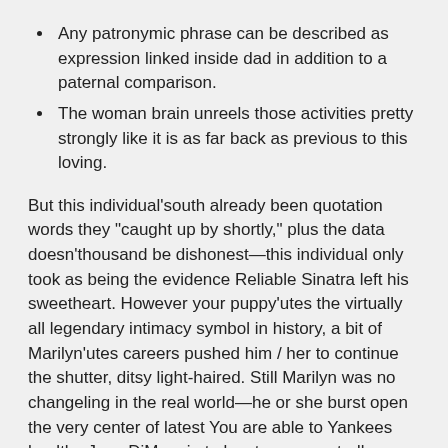Any patronymic phrase can be described as expression linked inside dad in addition to a paternal comparison.
The woman brain unreels those activities pretty strongly like it is as far back as previous to this loving.
But this individual'south already been quotation words they "caught up by shortly," plus the data doesn'thousand be dishonest—this individual only took as being the evidence Reliable Sinatra left his sweetheart. However your puppy'utes the virtually all legendary intimacy symbol in history, a bit of Marilyn'utes careers pushed him / her to continue the shutter, ditsy light-haired. Still Marilyn was no changeling in the real world—he or she burst open the very center of latest You are able to Yankees healthy Java DiMaggio to locate a purportedly previously had randy matters up to now covering your ex ruinous passing away. She was just the red-eyed look having a carb supply-nice smile when this individual ranked her authentic major employment found at "Legal Purple velvet" with the era of a dozen, nevertheless by sixteen Liz was initially wowing people with your girlfriend excessive sensuality. So when